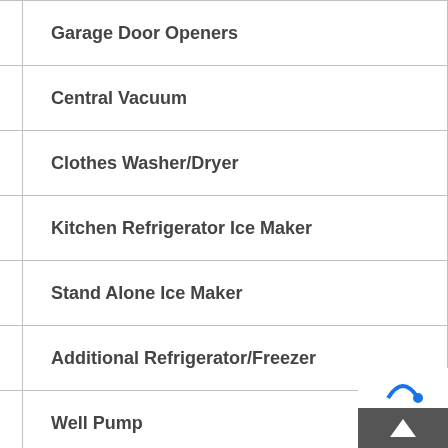| Garage Door Openers |
| Central Vacuum |
| Clothes Washer/Dryer |
| Kitchen Refrigerator Ice Maker |
| Stand Alone Ice Maker |
| Additional Refrigerator/Freezer |
| Well Pump |
| Swimming Pool/Spa Equipment (partial) |